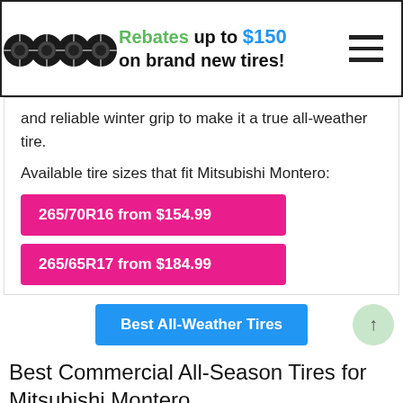[Figure (infographic): Banner advertisement showing four black tire/wheel images on the left, with text 'Rebates up to $150 on brand new tires!' and a hamburger menu icon on the right.]
and reliable winter grip to make it a true all-weather tire.
Available tire sizes that fit Mitsubishi Montero:
265/70R16 from $154.99
265/65R17 from $184.99
Best All-Weather Tires
Best Commercial All-Season Tires for Mitsubishi Montero
Commercial all-season tires come with heavy-duty construction and aggressive tread designs to deliver